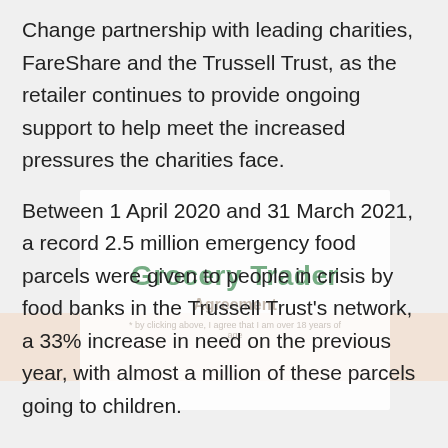Change partnership with leading charities, FareShare and the Trussell Trust, as the retailer continues to provide ongoing support to help meet the increased pressures the charities face.
Between 1 April 2020 and 31 March 2021, a record 2.5 million emergency food parcels were given to people in crisis by food banks in the Trussell Trust's network, a 33% increase in need on the previous year, with almost a million of these parcels going to children.
Over 278,000 meals were donated throughout the month-long food drive in July last year, as customers and colleagues responded positively to new signposting in store, which indicated the items most needed by their local food bank.